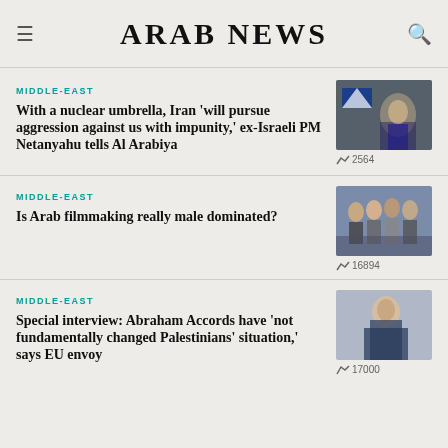ARAB NEWS
MIDDLE-EAST
With a nuclear umbrella, Iran 'will pursue aggression against us with impunity,' ex-Israeli PM Netanyahu tells Al Arabiya
[Figure (photo): Photo of Netanyahu speaking, Israeli flag in background]
2564
MIDDLE-EAST
Is Arab filmmaking really male dominated?
[Figure (photo): Group photo of women filmmakers]
16894
MIDDLE-EAST
Special interview: Abraham Accords have 'not fundamentally changed Palestinians' situation,' says EU envoy
[Figure (photo): Photo of EU envoy at conference]
17000